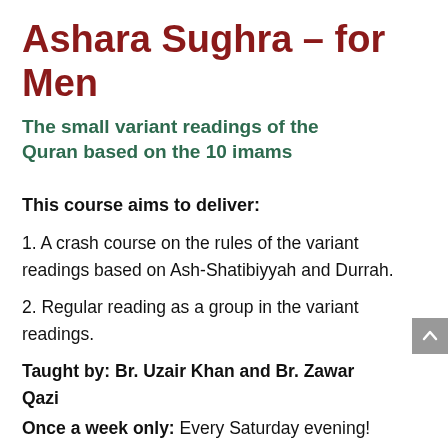Ashara Sughra – for Men
The small variant readings of the Quran based on the 10 imams
This course aims to deliver:
1. A crash course on the rules of the variant readings based on Ash-Shatibiyyah and Durrah.
2. Regular reading as a group in the variant readings.
Taught by: Br. Uzair Khan and Br. Zawar Qazi
Once a week only: Every Saturday evening!
Duration: October 2018 to June 2019  |  2:30